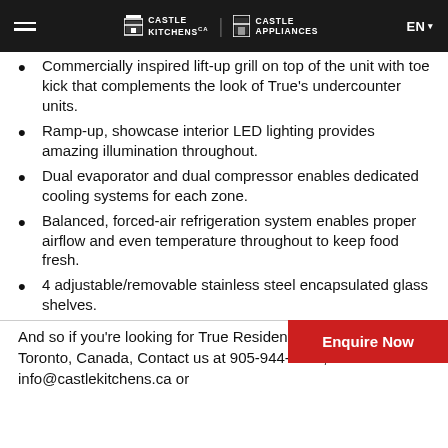Castle Kitchens | Castle Appliances | EN
Commercially inspired lift-up grill on top of the unit with toe kick that complements the look of True's undercounter units.
Ramp-up, showcase interior LED lighting provides amazing illumination throughout.
Dual evaporator and dual compressor enables dedicated cooling systems for each zone.
Balanced, forced-air refrigeration system enables proper airflow and even temperature throughout to keep food fresh.
4 adjustable/removable stainless steel encapsulated glass shelves.
And so if you're looking for True Residential Appliances In Toronto, Canada, Contact us at 905-944-0060, email us at info@castlekitchens.ca or